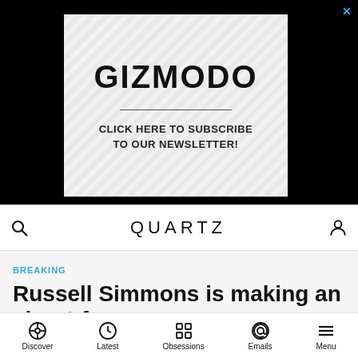[Figure (screenshot): Gizmodo advertisement banner with diagonal stripe pattern background, bold GIZMODO logo, horizontal divider line, and text CLICK HERE TO SUBSCRIBE TO OUR NEWSLETTER!]
QUARTZ
BREAKING
Russell Simmons is making an about-face
Discover  Latest  Obsessions  Emails  Menu